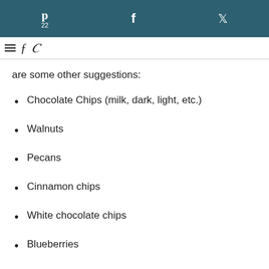Pinterest 22 | f | Twitter
are some other suggestions:
Chocolate Chips (milk, dark, light, etc.)
Walnuts
Pecans
Cinnamon chips
White chocolate chips
Blueberries